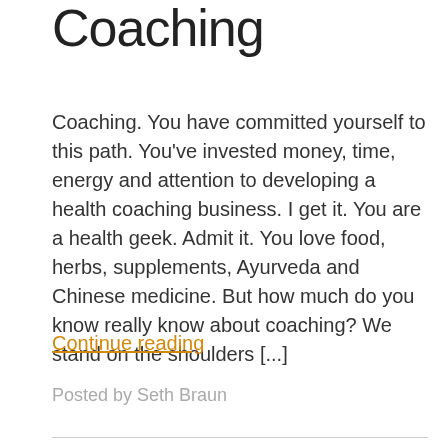Coaching
Coaching. You have committed yourself to this path. You've invested money, time, energy and attention to developing a health coaching business. I get it. You are a health geek. Admit it. You love food, herbs, supplements, Ayurveda and Chinese medicine. But how much do you know really know about coaching? We stand on the shoulders [...]
Continue reading
Posted by Seth Braun